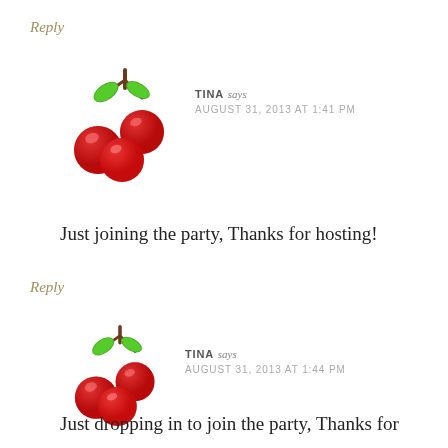Reply
[Figure (illustration): Bunch of red cherries with green leaves and brown stem, cartoon/clip-art style]
TINA says
AUGUST 31, 2013 AT 1:41 PM
Just joining the party, Thanks for hosting!
Reply
[Figure (illustration): Bunch of red cherries with green leaves and brown stem, cartoon/clip-art style]
TINA says
AUGUST 31, 2013 AT 1:44 PM
Just dropping in to join the party, Thanks for